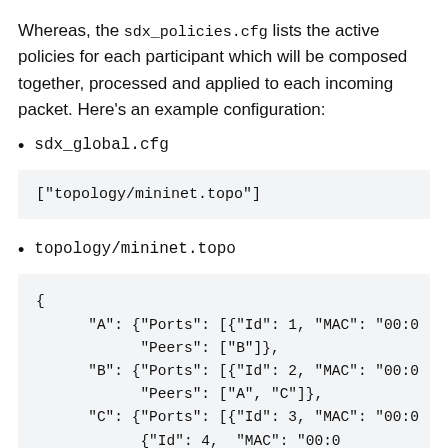Whereas, the sdx_policies.cfg lists the active policies for each participant which will be composed together, processed and applied to each incoming packet. Here's an example configuration:
sdx_global.cfg
["topology/mininet.topo"]
topology/mininet.topo
{
    "A": {"Ports": [{"Id": 1, "MAC": "00:0...
            "Peers": ["B"]},
    "B": {"Ports": [{"Id": 2, "MAC": "00:0...
            "Peers": ["A", "C"]},
    "C": {"Ports": [{"Id": 3, "MAC": "00:0...
            {"Id": 4, "MAC": "00:0...